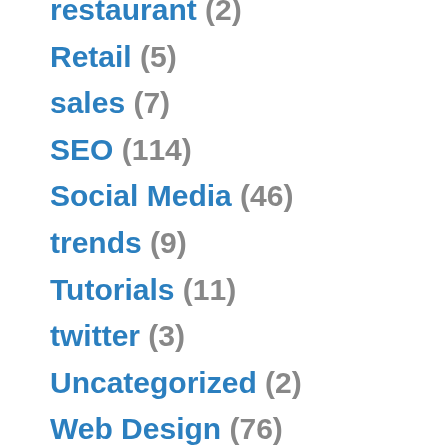restaurant (2)
Retail (5)
sales (7)
SEO (114)
Social Media (46)
trends (9)
Tutorials (11)
twitter (3)
Uncategorized (2)
Web Design (76)
WOM (5)